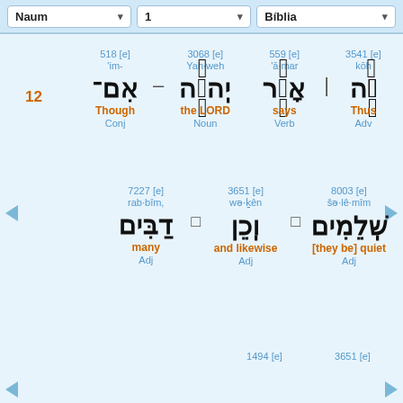Naum | 1 | Bíblia
3541 [e] kōh Thus Adv | 559 [e] 'ā·mar says Verb | 3068 [e] Yah·weh the LORD Noun | 518 [e] 'im- Though Conj | 12
8003 [e] šə·lê·mîm [they be] quiet Adj | 3651 [e] wə·ḵên and likewise Adj | 7227 [e] rab·bîm, many Adj
3651 [e] | 1494 [e]